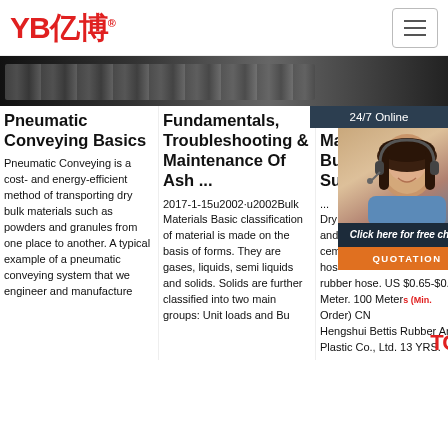[Figure (logo): YB亿博 logo in red with registered trademark symbol]
[Figure (photo): Dark image strip showing industrial equipment]
24/7 Online
Pneumatic Conveying Basics
Fundamentals, Troubleshooting & Maintenance Of Ash ...
Dry Ma Bu Su
Pneumatic Conveying is a cost- and energy-efficient method of transporting dry bulk materials such as powders and granules from one place to another. A typical example of a pneumatic conveying system that we engineer and manufacture
2017-1-15u2002·u2002Bulk Materials Basic classification of material is made on the basis of forms. They are gases, liquids, semi liquids and solids. Solids are further classified into two main groups: Unit loads and Bulk loads
... Dry and cement hos rubber hose. US $0.65-$0.70 Meter. 100 Meters (Min. Order) CN Hengshui Bettis Rubber And Plastic Co., Ltd. 13 YRS.
[Figure (photo): Customer service representative with headset - 24/7 online chat widget]
Click here for free chat !
QUOTATION